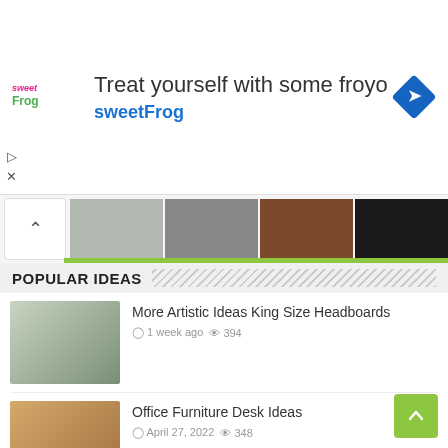[Figure (other): Advertisement banner for sweetFrog frozen yogurt with logo, text 'Treat yourself with some froyo', 'sweetFrog' in blue, and a blue diamond direction arrow icon]
[Figure (other): Horizontal image carousel slider strip with a chevron-up button and thumbnail images, with a green progress bar]
POPULAR IDEAS
[Figure (photo): Bedroom with artistic king size headboard]
More Artistic Ideas King Size Headboards
1 week ago  394
[Figure (photo): Wooden office furniture desk with monitor]
Office Furniture Desk Ideas
April 27, 2022  348
[Figure (photo): Kitchen with glass backsplash tiles]
Add Style And Glamour To Your Kitchen Space With Glass Kitchen Backsplash Tiles
4 days ago  270
[Figure (photo): Chaise lounge leather chair]
How to Clean a Chaise Lounge Leather